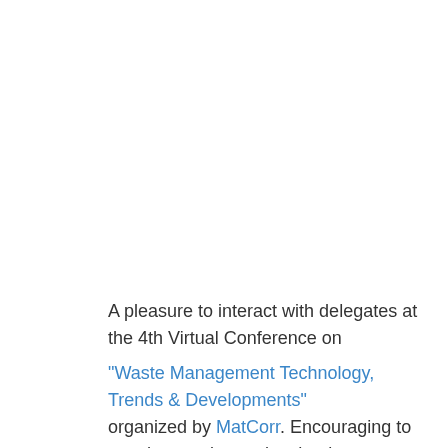A pleasure to interact with delegates at the 4th Virtual Conference on "Waste Management Technology, Trends & Developments" organized by MatCorr. Encouraging to see the passion and technology development in Waste